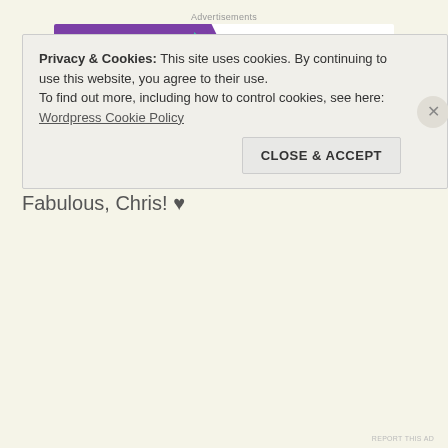Advertisements
[Figure (other): WooCommerce advertisement banner: purple background with WooCommerce logo on left and text 'How to start selling subscriptions online' on right with decorative leaves]
olganm says:
September 8, 2018 at 09:04
Fabulous, Chris! ♥
Privacy & Cookies: This site uses cookies. By continuing to use this website, you agree to their use.
To find out more, including how to control cookies, see here:
Wordpress Cookie Policy
CLOSE & ACCEPT